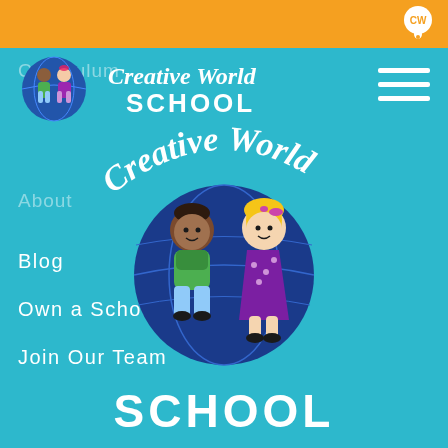[Figure (screenshot): Orange top navigation bar of Creative World School website]
[Figure (logo): Creative World School logo in header with circular illustration of two children on a globe, script text 'Creative World' and bold 'SCHOOL' text]
[Figure (other): Hamburger menu icon (three white horizontal lines) in top right of nav]
Curriculum
About
Blog
Own a School
Join Our Team
[Figure (logo): Large Creative World School logo centered on teal background: script 'Creative World' text arching over circular illustration of two children (boy and girl) sitting on a globe, with bold white 'SCHOOL' text below]